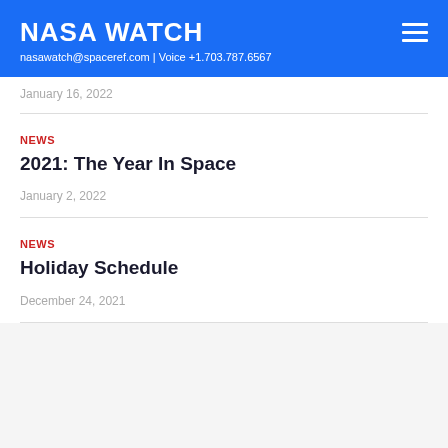NASA WATCH
nasawatch@spaceref.com | Voice +1.703.787.6567
January 16, 2022
NEWS
2021: The Year In Space
January 2, 2022
NEWS
Holiday Schedule
December 24, 2021